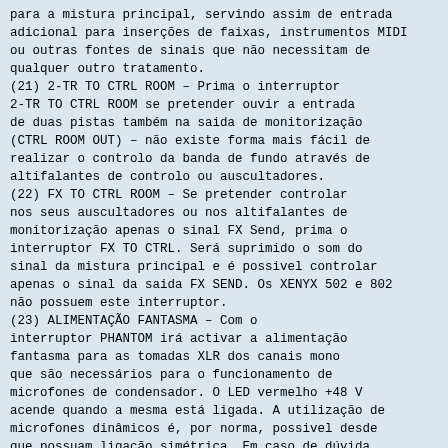para a mistura principal, servindo assim de entrada adicional para inserções de faixas, instrumentos MIDI ou outras fontes de sinais que não necessitam de qualquer outro tratamento.
(21) 2-TR TO CTRL ROOM – Prima o interruptor 2-TR TO CTRL ROOM se pretender ouvir a entrada de duas pistas também na saida de monitorização (CTRL ROOM OUT) – não existe forma mais fácil de realizar o controlo da banda de fundo através de altifalantes de controlo ou auscultadores.
(22) FX TO CTRL ROOM – Se pretender controlar nos seus auscultadores ou nos altifalantes de monitorização apenas o sinal FX Send, prima o interruptor FX TO CTRL. Será suprimido o som do sinal da mistura principal e é possivel controlar apenas o sinal da saida FX SEND. Os XENYX 502 e 802 não possuem este interruptor.
(23) ALIMENTAÇÃO FANTASMA – Com o interruptor PHANTOM irá activar a alimentação fantasma para as tomadas XLR dos canais mono que são necessários para o funcionamento de microfones de condensador. O LED vermelho +48 V acende quando a mesma está ligada. A utilização de microfones dinâmicos é, por norma, possivel desde que possuam ligação simétrica. Em caso de dúvida, contacte o fabricante do microfone!
(24) POWER – O LED POWER indica que o aparelho está ligado.
(25) INDICADOR DO NÍVEL – O indicador do nivel de 4 segmentos de alta precisão fornece-lhe sempre uma perspectiva concreta do volume do respectivo sinal indicado.
24